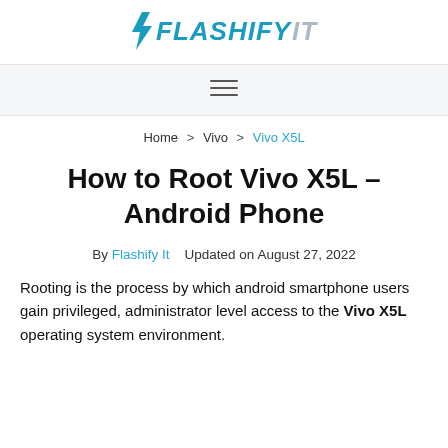[Figure (logo): Flashify It logo with lightning bolt icon and stylized text in blue and gray]
Navigation bar with hamburger menu icon
Home > Vivo > Vivo X5L
How to Root Vivo X5L – Android Phone
By Flashify It   Updated on August 27, 2022
Rooting is the process by which android smartphone users gain privileged, administrator level access to the Vivo X5L operating system environment.